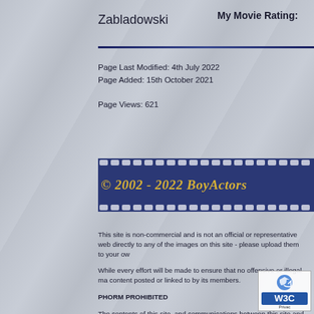Zabladowski    My Movie Rating:
Page Last Modified: 4th July 2022
Page Added: 15th October 2021

Page Views: 621
[Figure (other): Film strip banner with copyright text: © 2002 - 2022 BoyActors]
This site is non-commercial and is not an official or representative web directly to any of the images on this site - please upload them to your ow

While every effort will be made to ensure that no offensive or illegal ma content posted or linked to by its members.

PHORM PROHIBITED

The contents of this site, and communications between this site and its of the Regulation of Investigatory Powers Act 2000. The use of those c other purposes is strictly forbidden.

Design and Layout © 2002 - 2007: Bijou. 2007 - 2022: Quantum
[Figure (logo): W3C Privacy badge/logo]